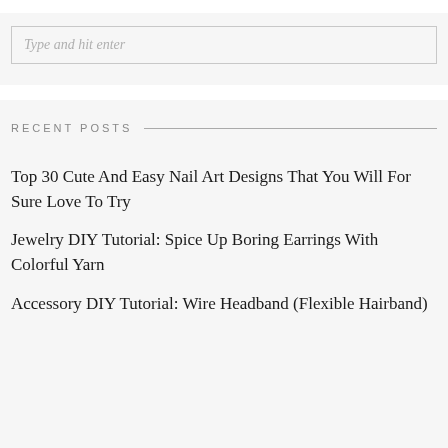Type and hit enter
RECENT POSTS
Top 30 Cute And Easy Nail Art Designs That You Will For Sure Love To Try
Jewelry DIY Tutorial: Spice Up Boring Earrings With Colorful Yarn
Accessory DIY Tutorial: Wire Headband (Flexible Hairband)